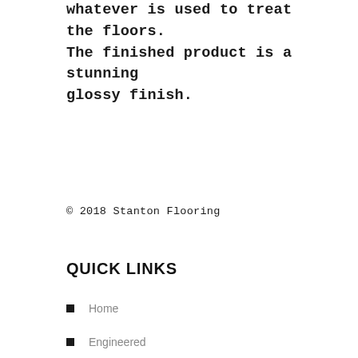whatever is used to treat the floors. The finished product is a stunning glossy finish.
© 2018 Stanton Flooring
QUICK LINKS
Home
Engineered